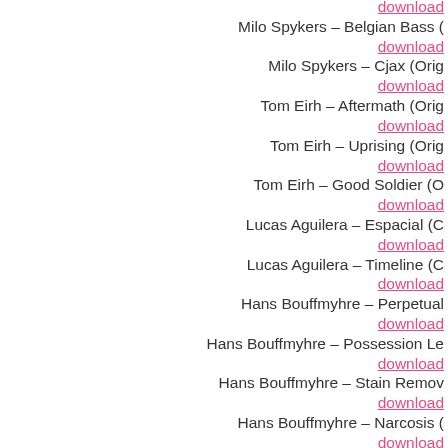download
Milo Spykers – Belgian Bass (…
download
Milo Spykers – Cjax (Orig…
download
Tom Eirh – Aftermath (Orig…
download
Tom Eirh – Uprising (Orig…
download
Tom Eirh – Good Soldier (O…
download
Lucas Aguilera – Espacial (C…
download
Lucas Aguilera – Timeline (C…
download
Hans Bouffmyhre – Perpetual…
download
Hans Bouffmyhre – Possession Le…
download
Hans Bouffmyhre – Stain Remov…
download
Hans Bouffmyhre – Narcosis (…
download